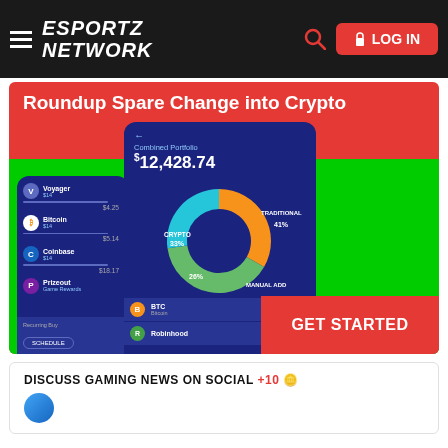ESPORTZ NETWORK — LOG IN
[Figure (infographic): Promotional banner: 'Roundup Spare Change into Crypto' with a donut chart showing CRYPTO 33%, TRADITIONAL 41%, MANUAL ADD 26%, and a GET STARTED button. Shows a crypto app portfolio UI with Combined Portfolio $12,428.74 and various coin listings including BTC (Bitcoin) and Robinhood $7,342.86.]
DISCUSS GAMING NEWS ON SOCIAL +10 🪙